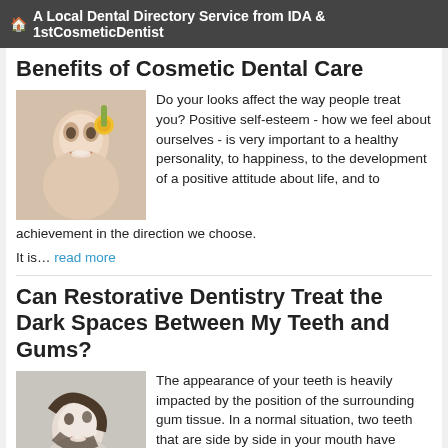🏠 A Local Dental Directory Service from IDA & 1stCosmeticDentist
Benefits of Cosmetic Dental Care
[Figure (photo): Photo of a smiling woman with a flower accessory]
Do your looks affect the way people treat you? Positive self-esteem - how we feel about ourselves - is very important to a healthy personality, to happiness, to the development of a positive attitude about life, and to achievement in the direction we choose.
It is… read more
Can Restorative Dentistry Treat the Dark Spaces Between My Teeth and Gums?
[Figure (photo): Photo of a smiling woman looking upward]
The appearance of your teeth is heavily impacted by the position of the surrounding gum tissue. In a normal situation, two teeth that are side by side in your mouth have contact with each other. Below this contact, the area… read more